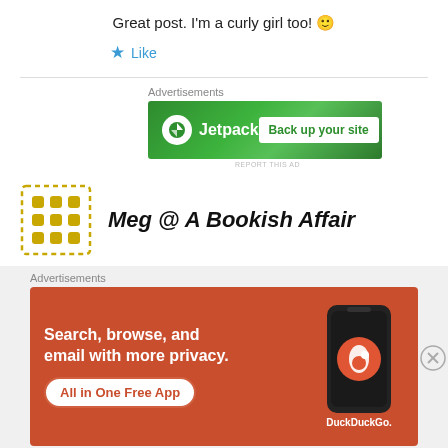Great post. I'm a curly girl too! 🙂
★ Like
Advertisements
[Figure (screenshot): Jetpack advertisement banner with green background, Jetpack logo and 'Back up your site' button]
REPORT THIS AD
Meg @ A Bookish Affair
Advertisements
[Figure (screenshot): DuckDuckGo advertisement with orange background, text 'Search, browse, and email with more privacy. All in One Free App', and phone image with DuckDuckGo logo]